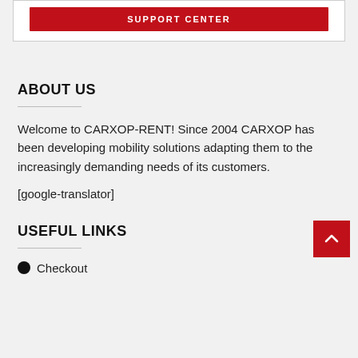[Figure (other): Red button with white text reading 'SUPPORT CENTER' inside a white card with border]
ABOUT US
Welcome to CARXOP-RENT! Since 2004 CARXOP has been developing mobility solutions adapting them to the increasingly demanding needs of its customers.
[google-translator]
USEFUL LINKS
Checkout